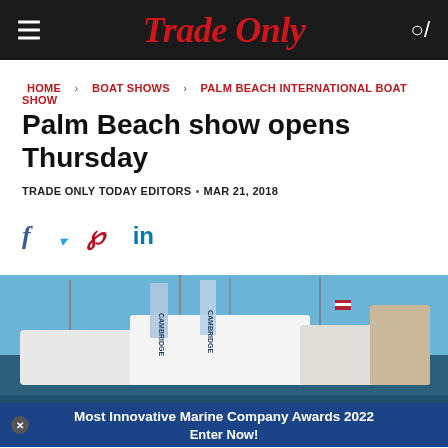Trade Only
HOME > BOAT SHOWS > PALM BEACH INTERNATIONAL BOAT SHOW
Palm Beach show opens Thursday
TRADE ONLY TODAY EDITORS • MAR 21, 2018
[Figure (infographic): Social media share icons: Facebook, Twitter, Pinterest, LinkedIn]
[Figure (photo): Boats at marina with Cambridge Yacht Group banners and flags, with overlay banner reading 'Most Innovative Marine Company Awards 2022 Enter Now!']